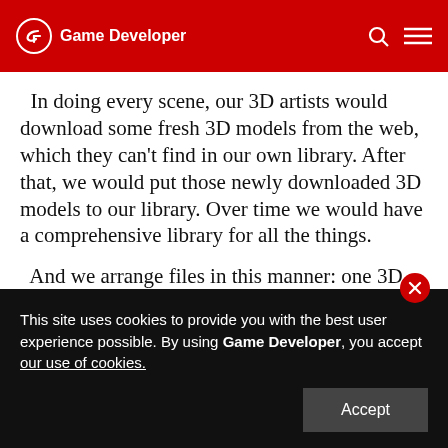Game Developer
In doing every scene, our 3D artists would download some fresh 3D models from the web, which they can't find in our own library. After that, we would put those newly downloaded 3D models to our library. Over time we would have a comprehensive library for all the things.
And we arrange files in this manner: one 3D model file for a certain object, for example a chair and an umbrella. And each file has an eponymous jpg file with it, which is the screenshot of this item...
This site uses cookies to provide you with the best user experience possible. By using Game Developer, you accept our use of cookies.